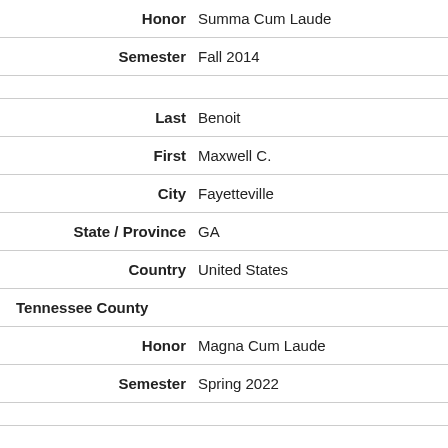Honor: Summa Cum Laude
Semester: Fall 2014
Last: Benoit
First: Maxwell C.
City: Fayetteville
State / Province: GA
Country: United States
Tennessee County
Honor: Magna Cum Laude
Semester: Spring 2022